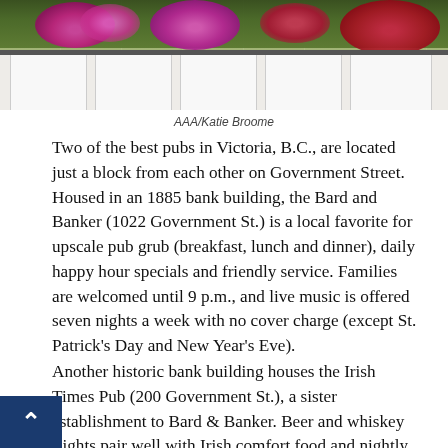[Figure (photo): Bottom portion of a building facade on Government Street, Victoria, B.C., with colorful hanging flower baskets (pink, red, purple flowers) above white paneled windows/doors.]
AAA/Katie Broome
Two of the best pubs in Victoria, B.C., are located just a block from each other on Government Street. Housed in an 1885 bank building, the Bard and Banker (1022 Government St.) is a local favorite for upscale pub grub (breakfast, lunch and dinner), daily happy hour specials and friendly service. Families are welcomed until 9 p.m., and live music is offered seven nights a week with no cover charge (except St. Patrick's Day and New Year's Eve).
Another historic bank building houses the Irish Times Pub (200 Government St.), a sister establishment to Bard & Banker. Beer and whiskey flights pair well with Irish comfort food and nightly live music. On Friday and